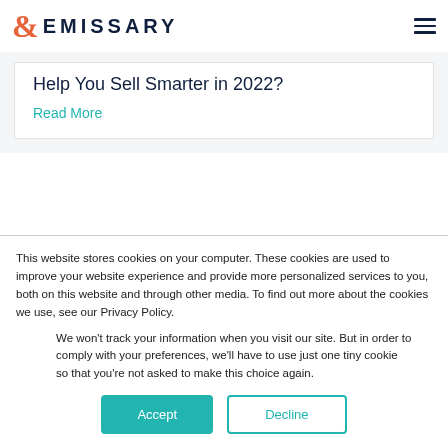& EMISSARY
Help You Sell Smarter in 2022?
Read More
This website stores cookies on your computer. These cookies are used to improve your website experience and provide more personalized services to you, both on this website and through other media. To find out more about the cookies we use, see our Privacy Policy.
We won't track your information when you visit our site. But in order to comply with your preferences, we'll have to use just one tiny cookie so that you're not asked to make this choice again.
Accept Decline